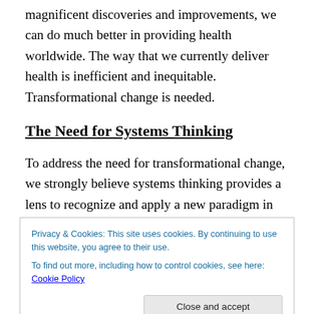magnificent discoveries and improvements, we can do much better in providing health worldwide. The way that we currently deliver health is inefficient and inequitable. Transformational change is needed.
The Need for Systems Thinking
To address the need for transformational change, we strongly believe systems thinking provides a lens to recognize and apply a new paradigm in health. Systems thinking is a way of looking at the world, based on the idea
Privacy & Cookies: This site uses cookies. By continuing to use this website, you agree to their use.
To find out more, including how to control cookies, see here: Cookie Policy
Close and accept